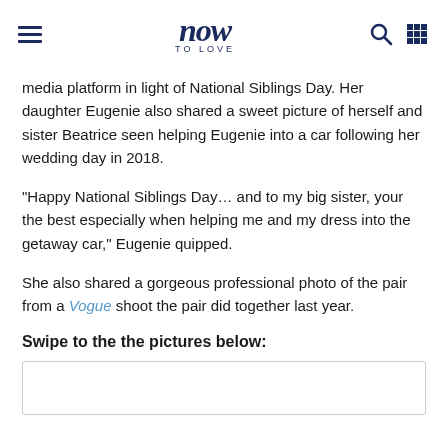now TO LOVE
media platform in light of National Siblings Day. Her daughter Eugenie also shared a sweet picture of herself and sister Beatrice seen helping Eugenie into a car following her wedding day in 2018.
"Happy National Siblings Day… and to my big sister, your the best especially when helping me and my dress into the getaway car," Eugenie quipped.
She also shared a gorgeous professional photo of the pair from a Vogue shoot the pair did together last year.
Swipe to the the pictures below:
[Figure (photo): White image placeholder box at the bottom of the page]